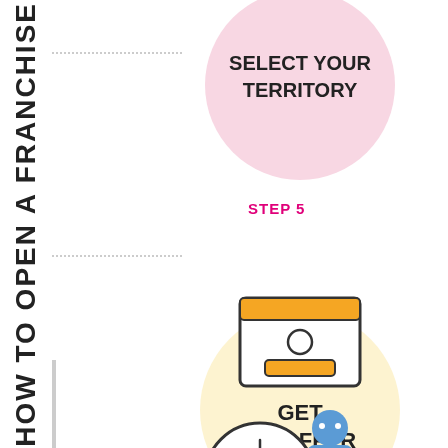HOW TO OPEN A FRANCHISE
[Figure (infographic): Step 5: Select Your Territory - pink circle with bold text, dotted connector lines]
SELECT YOUR TERRITORY
STEP 5
[Figure (infographic): Step 6: Get An Offer - envelope icon on yellow/cream circle background]
GET AN OFFER
STEP 6
[Figure (infographic): Step 7 partial: clock/person icon at bottom of page]